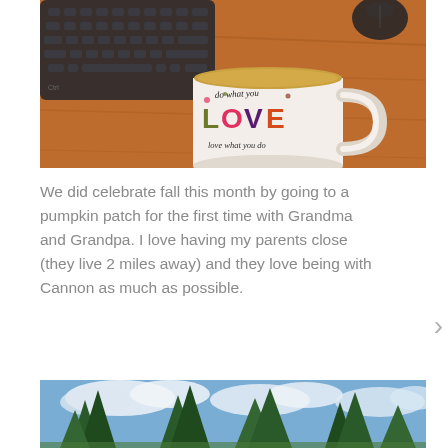[Figure (photo): A white ceramic mug with colorful 'do what you LOVE love what you do' text sitting on a wooden desk next to a keyboard and mouse.]
We did celebrate fall this month by going to a pumpkin patch for the first time with Grandma and Grandpa. I love having my parents close (they live 2 miles away) and they love being with Cannon as much as possible.
[Figure (photo): Outdoor landscape photo showing pine trees against a blue sky with clouds.]